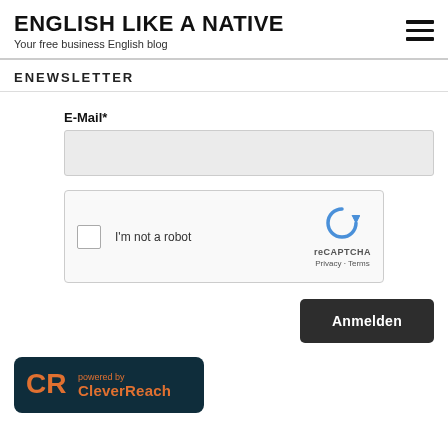ENGLISH LIKE A NATIVE
Your free business English blog
ENEWSLETTER
E-Mail*
[Figure (screenshot): reCAPTCHA widget with checkbox labeled 'I'm not a robot' and reCAPTCHA logo with Privacy and Terms links]
Anmelden
[Figure (logo): CleverReach logo badge on dark teal background with orange CR icon and text 'powered by CleverReach']